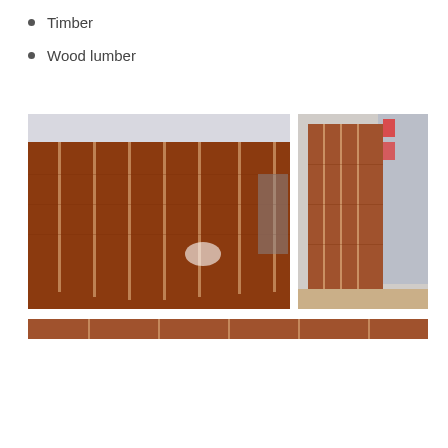Timber
Wood lumber
[Figure (photo): Two photos of wood lumber planks standing vertically. Left photo shows several wide reddish-brown wood boards leaning against a wall in an indoor setting. Right photo shows similar reddish-brown wood planks leaning against a wall with building materials visible in background.]
[Figure (photo): Partial view of additional wood lumber planks at the bottom of the page.]